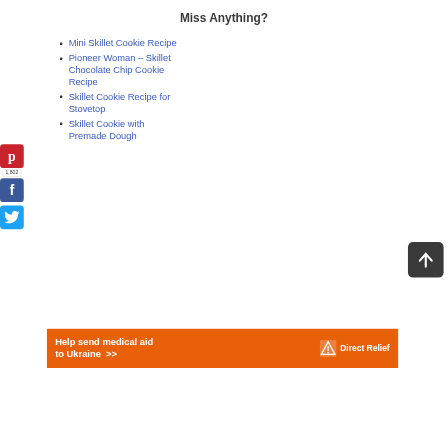Miss Anything?
Mini Skillet Cookie Recipe
Pioneer Woman – Skillet Chocolate Chip Cookie Recipe
Skillet Cookie Recipe for Stovetop
Skillet Cookie with Premade Dough
[Figure (infographic): Orange Direct Relief banner: Help send medical aid to Ukraine >> with Direct Relief logo]
[Figure (infographic): Social media sidebar: Pinterest button with 1,802 count, Facebook button, Twitter button. Dark gray up-arrow scroll button.]